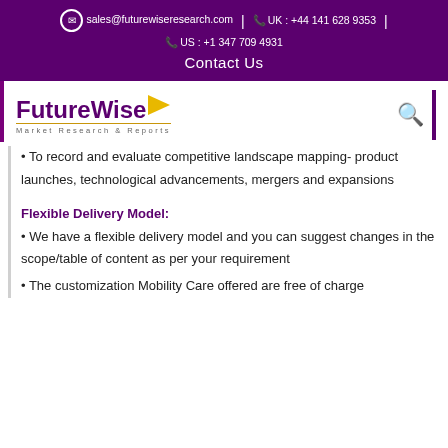sales@futurewiseresearch.com | UK : +44 141 628 9353 | US : +1 347 709 4931
Contact Us
[Figure (logo): FutureWise Market Research & Reports logo with yellow arrow and search icon]
To record and evaluate competitive landscape mapping- product launches, technological advancements, mergers and expansions
Flexible Delivery Model:
We have a flexible delivery model and you can suggest changes in the scope/table of content as per your requirement
The customization Mobility Care offered are free of charge